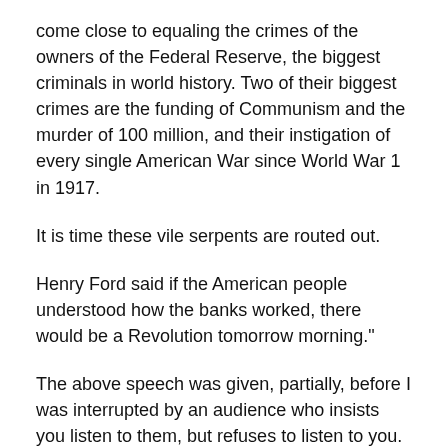come close to equaling the crimes of the owners of the Federal Reserve, the biggest criminals in world history. Two of their biggest crimes are the funding of Communism and the murder of 100 million, and their instigation of every single American War since World War 1 in 1917.
It is time these vile serpents are routed out.
Henry Ford said if the American people understood how the banks worked, there would be a Revolution tomorrow morning."
The above speech was given, partially, before I was interrupted by an audience who insists you listen to them, but refuses to listen to you. The audience really went crazy when I touched on the nerve of Talmudic Jews, and the two Democrat Jews in the audience went wild. I